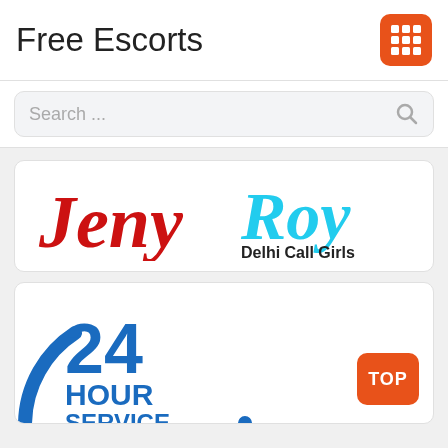Free Escorts
[Figure (logo): Orange rounded square grid/menu icon]
Search ...
[Figure (logo): Jeny Roy Delhi Call Girls logo — 'Jeny' in red italic serif, 'Roy' in cyan italic serif, 'Delhi Call Girls' in black bold below Roy]
[Figure (logo): 24 HOUR SERVICE logo in blue with circular arc, and orange TOP button]
TOP